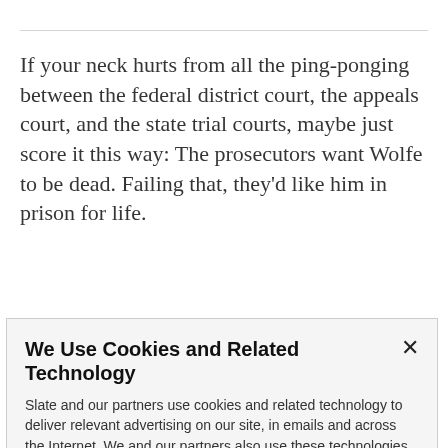If your neck hurts from all the ping-ponging between the federal district court, the appeals court, and the state trial courts, maybe just score it this way: The prosecutors want Wolfe to be dead. Failing that, they’d like him in prison for life.
Not only have Virginia prosecutors now deprived Wolfe
We Use Cookies and Related Technology
Slate and our partners use cookies and related technology to deliver relevant advertising on our site, in emails and across the Internet. We and our partners also use these technologies to personalize content and perform site analytics. For more information, see our terms and privacy policy. Privacy Policy